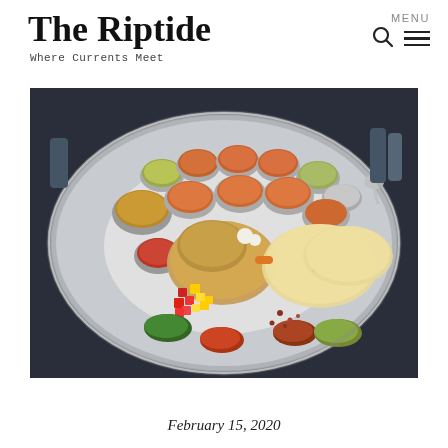The Riptide — Where Currents Meet
[Figure (photo): Indian thali meal on a large round stainless steel tray with multiple small steel bowls containing various curries and chutneys, papads (crispy flatbreads), puri (fried bread), fresh fruit salad, and various condiments arranged around the tray]
February 15, 2020